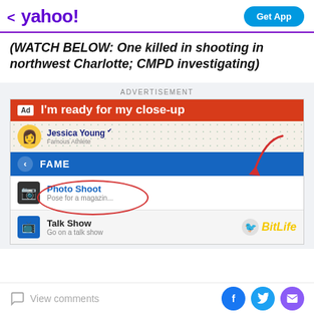< yahoo! | Get App
(WATCH BELOW: One killed in shooting in northwest Charlotte; CMPD investigating)
[Figure (screenshot): Advertisement screenshot showing a BitLife mobile game ad with 'I'm ready for my close-up' headline, a user profile for Jessica Young (Famous Athlete), a FAME navigation bar, a highlighted 'Photo Shoot - Pose for a magazine' option with a red oval circle and red arrow pointing to it, and a 'Talk Show - Go on a talk show' option with the BitLife logo.]
View comments
View comments | Facebook | Twitter | Mail